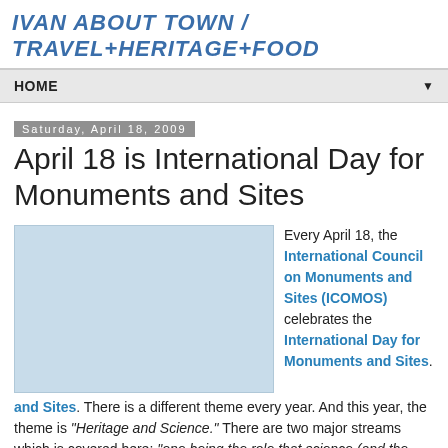IVAN ABOUT TOWN / TRAVEL+HERITAGE+FOOD
HOME ▼
Saturday, April 18, 2009
April 18 is International Day for Monuments and Sites
[Figure (photo): Light blue placeholder image]
Every April 18, the International Council on Monuments and Sites (ICOMOS) celebrates the International Day for Monuments and Sites. There is a different theme every year. And this year, the theme is "Heritage and Science." There are two major streams which is covered here: "one being the role that science (and the scientific process) has played in the